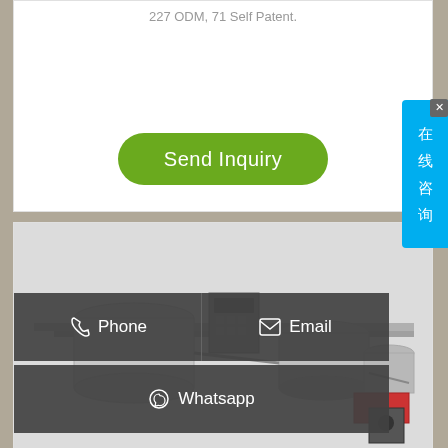227 ODM, 71 Self Patent.
[Figure (other): Send Inquiry button - green rounded rectangle]
[Figure (photo): Industrial machinery / food processing equipment photo with contact overlay bars showing Phone, Email, and Whatsapp options]
[Figure (other): Side chat button with Chinese characters 在线咨询 (online consultation)]